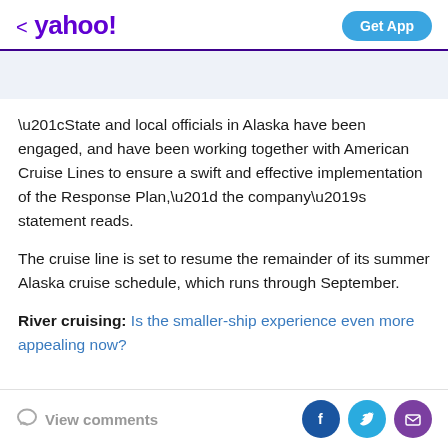< yahoo! | Get App
“State and local officials in Alaska have been engaged, and have been working together with American Cruise Lines to ensure a swift and effective implementation of the Response Plan,” the company’s statement reads.
The cruise line is set to resume the remainder of its summer Alaska cruise schedule, which runs through September.
River cruising: Is the smaller-ship experience even more appealing now?
View comments | Facebook | Twitter | Email